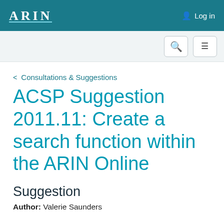ARIN   Log in
< Consultations & Suggestions
ACSP Suggestion 2011.11: Create a search function within the ARIN Online
Suggestion
Author: Valerie Saunders